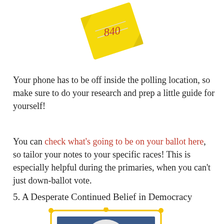[Figure (illustration): A yellow sticky note with red handwritten numbers '840' rotated slightly, shown from above against a white background.]
Your phone has to be off inside the polling location, so make sure to do your research and prep a little guide for yourself!
You can check what's going to be on your ballot here, so tailor your notes to your specific races! This is especially helpful during the primaries, when you can't just down-ballot vote.
5. A Desperate Continued Belief in Democracy
[Figure (photo): A woman with white hair wearing a blue jacket, framed in a yellow decorative frame. A portrait-style photo.]